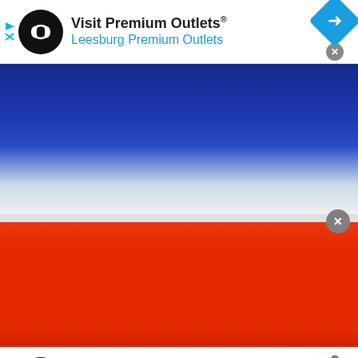[Figure (screenshot): Top ad banner for Premium Outlets showing black circular logo with infinity symbol, text 'Visit Premium Outlets®' and 'Leesburg Premium Outlets' in blue, with navigation diamond icon]
[Figure (illustration): Blue gradient image section - upper portion of advertisement banner]
[Figure (illustration): Orange-red solid color image section - lower portion of advertisement banner]
[Figure (screenshot): Bottom ad banner for Premium Outlets showing black circular logo with infinity symbol, text 'Save Up to 65%' and 'Leesburg Premium Outlets' in blue, with navigation diamond icon]